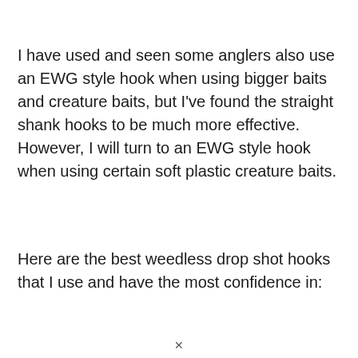I have used and seen some anglers also use an EWG style hook when using bigger baits and creature baits, but I've found the straight shank hooks to be much more effective. However, I will turn to an EWG style hook when using certain soft plastic creature baits.
Here are the best weedless drop shot hooks that I use and have the most confidence in: